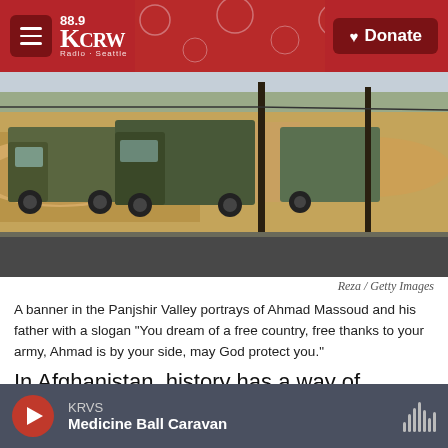KCRW 88.9 Radio. Donate
[Figure (photo): Photograph of trucks and vehicles on a dusty road with dirt piles and utility poles, Panjshir Valley scene]
Reza / Getty Images
A banner in the Panjshir Valley portrays of Ahmad Massoud and his father with a slogan "You dream of a free country, free thanks to your army, Ahmad is by your side, may God protect you."
In Afghanistan, history has a way of repeating itself: Today, much like when the Taliban last seized power in 1996, the rugged Panjshir province is the final redoubt standing in the way of their complete
KRVS  Medicine Ball Caravan